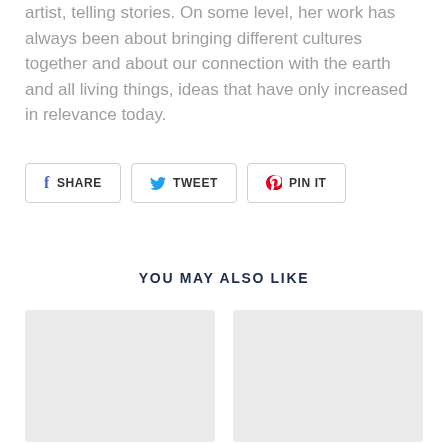artist, telling stories. On some level, her work has always been about bringing different cultures together and about our connection with the earth and all living things, ideas that have only increased in relevance today.
SHARE | TWEET | PIN IT
YOU MAY ALSO LIKE
[Figure (other): Two light gray image placeholder boxes side by side]